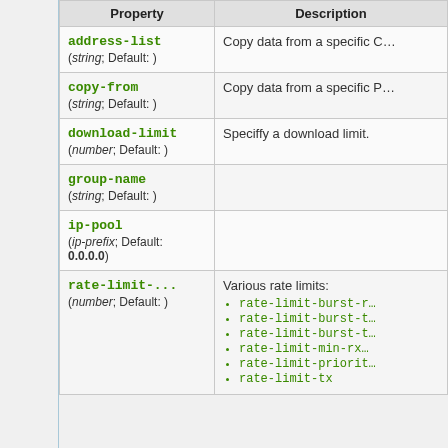| Property | Description |
| --- | --- |
| address-list
(string; Default: ) | Copy data from a specific C… |
| copy-from
(string; Default: ) | Copy data from a specific P… |
| download-limit
(number; Default: ) | Speciffy a download limit. |
| group-name
(string; Default: ) |  |
| ip-pool (ip-prefix; Default: 0.0.0.0) |  |
| rate-limit-...
(number; Default: ) | Various rate limits:
• rate-limit-burst-r…
• rate-limit-burst-t…
• rate-limit-burst-t…
• rate-limit-min-rx…
• rate-limit-priorit…
• rate-limit-tx |